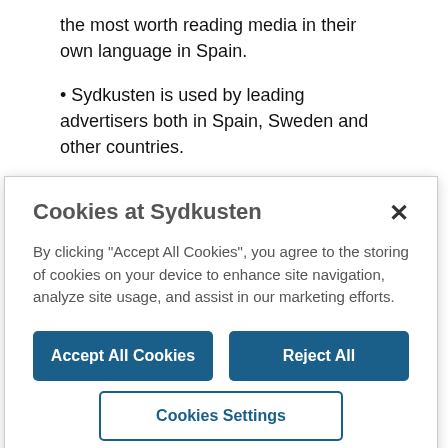the most worth reading media in their own language in Spain.
• Sydkusten is used by leading advertisers both in Spain, Sweden and other countries.
• The website of Sydkusten: www.sydkusten.es, is not only the oldest, but also the most
Cookies at Sydkusten
By clicking "Accept All Cookies", you agree to the storing of cookies on your device to enhance site navigation, analyze site usage, and assist in our marketing efforts.
Accept All Cookies
Reject All
Cookies Settings